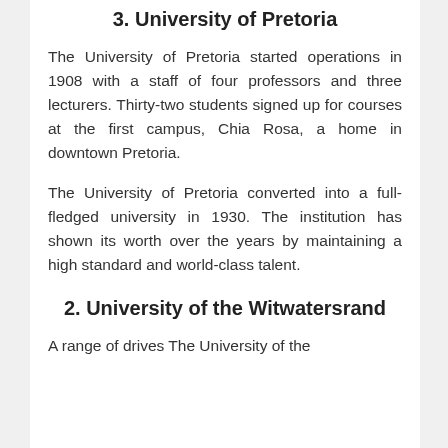3. University of Pretoria
The University of Pretoria started operations in 1908 with a staff of four professors and three lecturers. Thirty-two students signed up for courses at the first campus, Chia Rosa, a home in downtown Pretoria.
The University of Pretoria converted into a full-fledged university in 1930. The institution has shown its worth over the years by maintaining a high standard and world-class talent.
2. University of the Witwatersrand
A range of drives The University of the